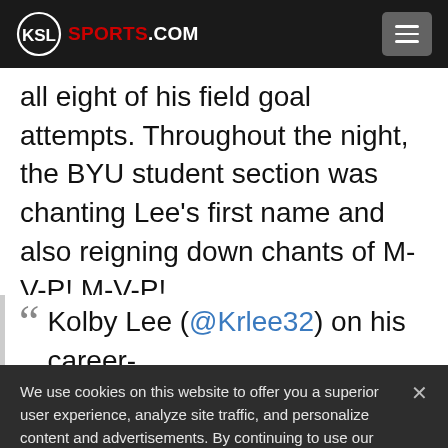[Figure (logo): KSL Sports.com logo with hamburger menu button on dark header bar]
all eight of his field goal attempts. Throughout the night, the BYU student section was chanting Lee's first name and also reigning down chants of M-V-P! M-V-P!
Kolby Lee (@Krlee32) on his career-
We use cookies on this website to offer you a superior user experience, analyze site traffic, and personalize content and advertisements. By continuing to use our site, you consent to our use of cookies. Please visit our Privacy Policy for more information.
Accept Cookies